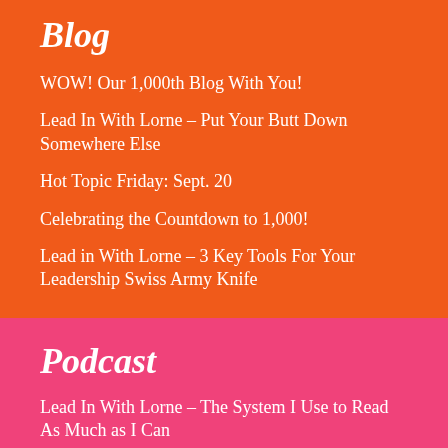Blog
WOW! Our 1,000th Blog With You!
Lead In With Lorne – Put Your Butt Down Somewhere Else
Hot Topic Friday: Sept. 20
Celebrating the Countdown to 1,000!
Lead in With Lorne – 3 Key Tools For Your Leadership Swiss Army Knife
Podcast
Lead In With Lorne – The System I Use to Read As Much as I Can